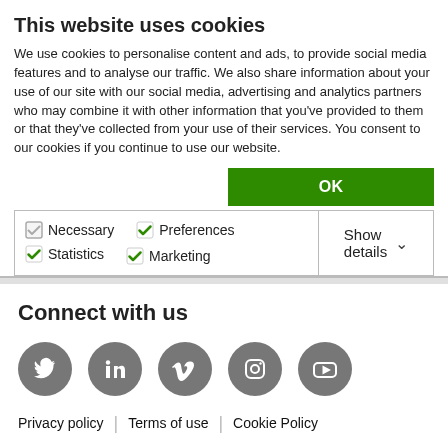This website uses cookies
We use cookies to personalise content and ads, to provide social media features and to analyse our traffic. We also share information about your use of our site with our social media, advertising and analytics partners who may combine it with other information that you've provided to them or that they've collected from your use of their services. You consent to our cookies if you continue to use our website.
OK
Necessary  Preferences  Statistics  Marketing  Show details
Connect with us
[Figure (infographic): Five social media icons in grey circles: Twitter, LinkedIn, Vimeo, Instagram, YouTube]
Privacy policy | Terms of use | Cookie Policy
© 2020 The IA Engine Ltd. All rights reserved. Registered in England and Wales No 11258384. Registered office: Camomile Court, 23